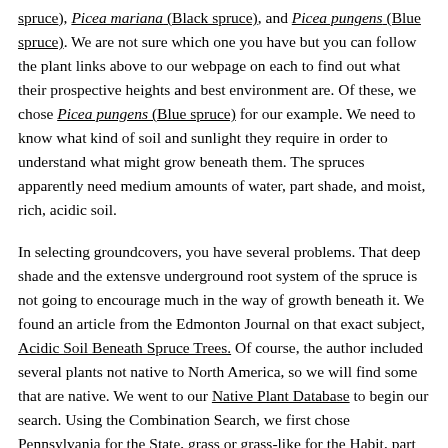spruce), Picea mariana (Black spruce), and Picea pungens (Blue spruce). We are not sure which one you have but you can follow the plant links above to our webpage on each to find out what their prospective heights and best environment are. Of these, we chose Picea pungens (Blue spruce) for our example. We need to know what kind of soil and sunlight they require in order to understand what might grow beneath them. The spruces apparently need medium amounts of water, part shade, and moist, rich, acidic soil.
In selecting groundcovers, you have several problems. That deep shade and the extensve underground root system of the spruce is not going to encourage much in the way of growth beneath it. We found an article from the Edmonton Journal on that exact subject, Acidic Soil Beneath Spruce Trees. Of course, the author included several plants not native to North America, so we will find some that are native. We went to our Native Plant Database to begin our search. Using the Combination Search, we first chose Pennsylvania for the State, grass or grass-like for the Habit, part shade or shade for Light Requirement, moist for Soil Moisture and